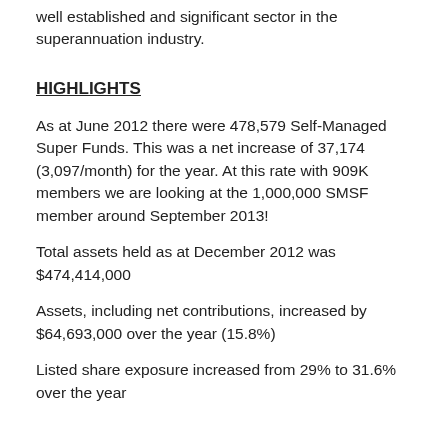well established and significant sector in the superannuation industry.
HIGHLIGHTS
As at June 2012 there were 478,579 Self-Managed Super Funds. This was a net increase of 37,174 (3,097/month) for the year. At this rate with 909K members we are looking at the 1,000,000 SMSF member around September 2013!
Total assets held as at December 2012 was $474,414,000
Assets, including net contributions, increased by $64,693,000 over the year (15.8%)
Listed share exposure increased from 29% to 31.6% over the year